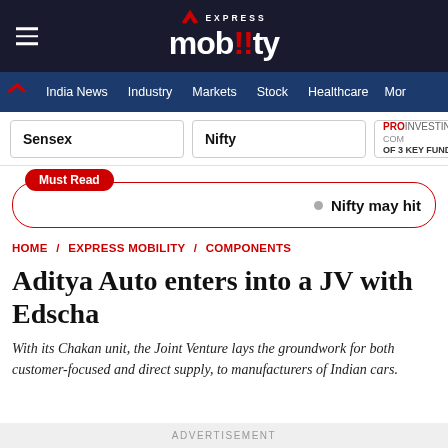[Figure (logo): Express Mobility logo with hamburger menu on dark navy background]
India News / Industry / Markets / Stock / Healthcare / More
Sensex | Nifty | PROINVESTING COMPARISON OF 3 KEY FUNDS
Must Read · Nifty may hit
HOME / EXPRESS MOBILITY / COMPONENTS
Aditya Auto enters into a JV with Edscha
With its Chakan unit, the Joint Venture lays the groundwork for both customer-focused and direct supply, to manufacturers of Indian cars.
ADVERTISEMENT